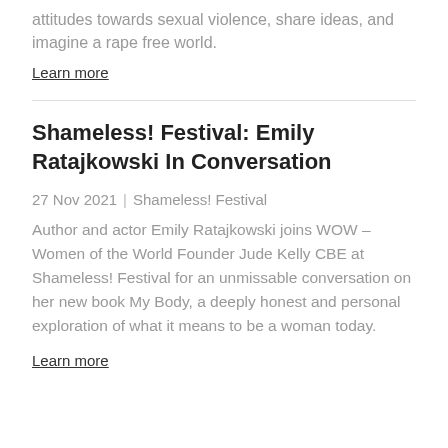attitudes towards sexual violence, share ideas, and imagine a rape free world.
Learn more
Shameless! Festival: Emily Ratajkowski In Conversation
27 Nov 2021 | Shameless! Festival
Author and actor Emily Ratajkowski joins WOW – Women of the World Founder Jude Kelly CBE at Shameless! Festival for an unmissable conversation on her new book My Body, a deeply honest and personal exploration of what it means to be a woman today.
Learn more